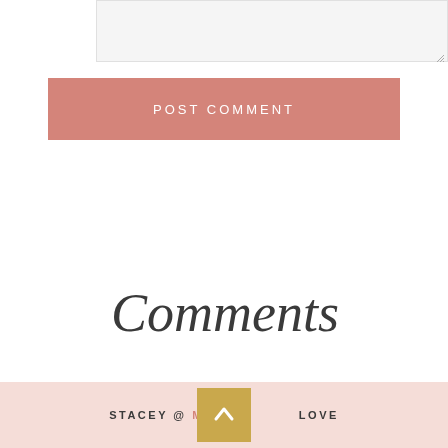[Figure (screenshot): Light grey textarea input box with resize handle in bottom-right corner]
POST COMMENT
Comments
STACEY @ MUM'S [LOGO] LOVE